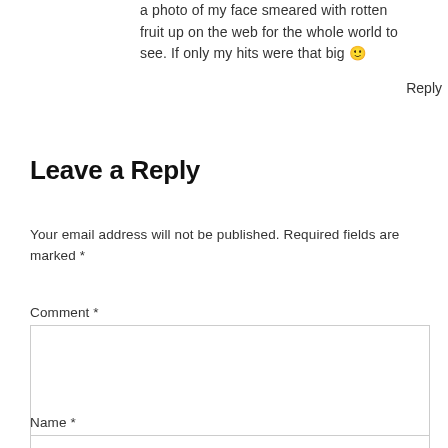a photo of my face smeared with rotten fruit up on the web for the whole world to see. If only my hits were that big 🙂
Reply
Leave a Reply
Your email address will not be published. Required fields are marked *
Comment *
Name *